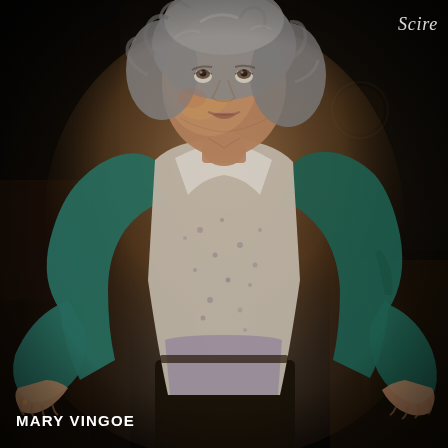[Figure (photo): A stage photograph of an older woman with curly grey hair, wearing a teal/green cardigan over a floral patterned blouse. She is looking upward with her arms outstretched and hands raised, as if expressing wonder or addressing someone above. The background is dark with some scenic elements including what appears to be a decorative plate on the wall, a bird figure, and other props suggesting a stage set. The image has dramatic theatrical lighting.]
MARY VINGOE